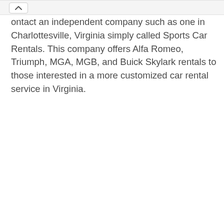ontact an independent company such as one in Charlottesville, Virginia simply called Sports Car Rentals. This company offers Alfa Romeo, Triumph, MGA, MGB, and Buick Skylark rentals to those interested in a more customized car rental service in Virginia.